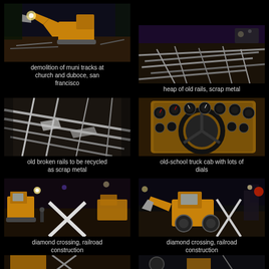[Figure (photo): Night construction scene with yellow excavator demolishing muni tracks at church and duboce, san francisco]
demolition of muni tracks at church and duboce, san francisco
[Figure (photo): Heap of old rails and scrap metal piled up at night]
heap of old rails, scrap metal
[Figure (photo): Close-up of old broken rails to be recycled as scrap metal]
old broken rails to be recycled as scrap metal
[Figure (photo): Old-school truck cab interior with lots of dials on dashboard]
old-school truck cab with lots of dials
[Figure (photo): Diamond crossing railroad construction with yellow construction equipment at night]
diamond crossing, railroad construction
[Figure (photo): Diamond crossing railroad construction with yellow loader at night]
diamond crossing, railroad construction
[Figure (photo): Partial view of construction scene at bottom of page]